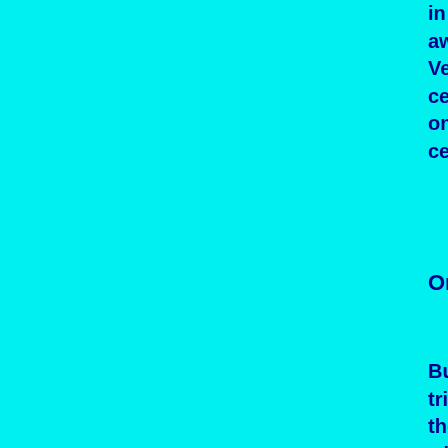in Buddha's life—birth, awakenment wi... away. Vesak is the fourth month of the lunar c... celebrated on different dates in spring around the w... celebrated following the first full moon i...
Origin of Vesak day
Buddha was born as Siddhartha, the cr... tribe in the garden of Lumbini, Nepal. He left hi... when he was 29 and chose the life of an asceti... old age, sickness and death. After practising... that awakening would come only by me... mat, he sat under the Peepal tree in Bodh Gaya, ... day state of Bihar, facing east direction. He w... attained enlightenment. He sat for forty... Buddha or the enlightened one at the ag... tree still to what the men cent h...